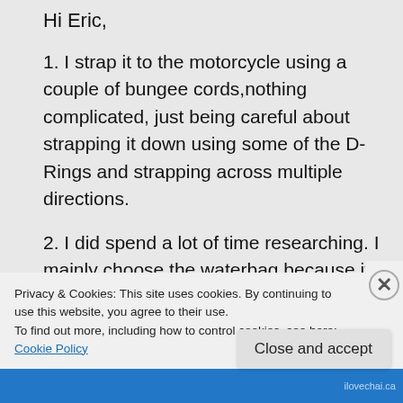Hi Eric,
1. I strap it to the motorcycle using a couple of bungee cords,nothing complicated, just being careful about strapping it down using some of the D-Rings and strapping across multiple directions.
2. I did spend a lot of time researching. I mainly choose the waterbag because it converted into a backpack and if I was walking a couple miles I wanted to be able
Privacy & Cookies: This site uses cookies. By continuing to use this website, you agree to their use.
To find out more, including how to control cookies, see here: Cookie Policy
Close and accept